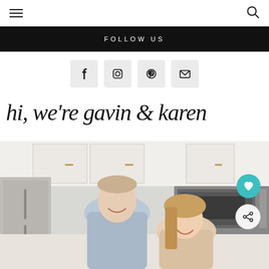Navigation bar with hamburger menu and search icon
FOLLOW US
[Figure (infographic): Four social media icon buttons: Facebook, Instagram, Pinterest, Email on light grey square backgrounds]
hi, we're gavin & karen
[Figure (photo): A couple (man and woman) smiling in a kitchen with stainless steel appliances and white cabinets]